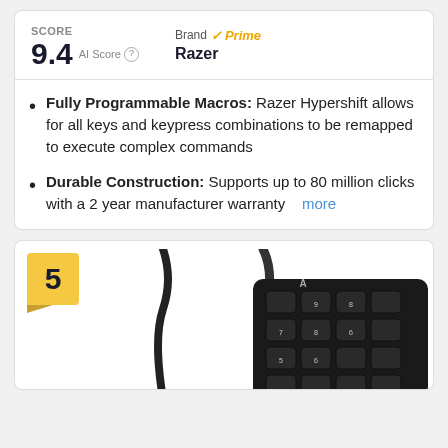SCORE
9.4 AI Score
Brand ✓Prime Razer
Fully Programmable Macros: Razer Hypershift allows for all keys and keypress combinations to be remapped to execute complex commands
Durable Construction: Supports up to 80 million clicks with a 2 year manufacturer warranty   more
[Figure (photo): Rank badge showing number 5 with a black mechanical keypad/numpad device with USB cable in the background]